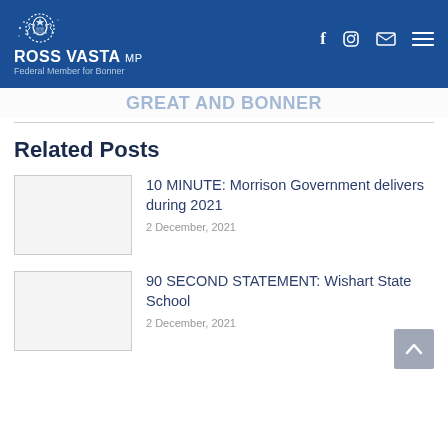ROSS VASTA MP – Federal Member for Bonner
Related Posts
10 MINUTE: Morrison Government delivers during 2021
2 December, 2021
90 SECOND STATEMENT: Wishart State School
2 December, 2021